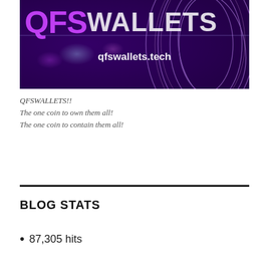[Figure (illustration): A dark purple/violet banner image with glowing abstract circular lines and light flares. Text reads 'QFS WALLETS' in large stylized letters at top and 'qfswallets.tech' in white text in the center.]
QFSWALLETS!!
The one coin to own them all!
The one coin to contain them all!
BLOG STATS
87,305 hits